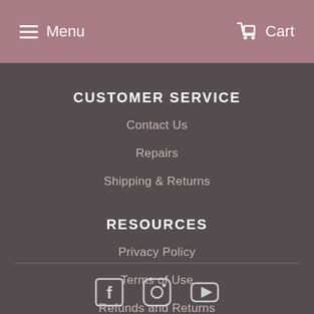Menu  Cart
CUSTOMER SERVICE
Contact Us
Repairs
Shipping & Returns
RESOURCES
Privacy Policy
Terms of Use
Refunds and Returns
[Figure (illustration): Social media icons: Facebook, Instagram, YouTube]